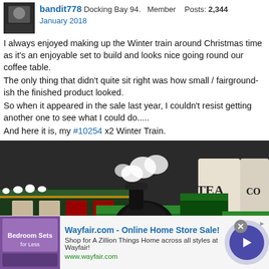bandit778 Docking Bay 94. Member Posts: 2,344
January 2018
I always enjoyed making up the Winter train around Christmas time as it's an enjoyable set to build and looks nice going round our coffee table.
The only thing that didn't quite sit right was how small / fairground-ish the finished product looked.
So when it appeared in the sale last year, I couldn't resist getting another one to see what I could do.....
And here it is, my #10254 x2 Winter Train.
[Figure (photo): Photo of a LEGO Winter Train set (two combined sets), showing a green and black Christmas-themed locomotive with red wheels, gold accents, and snow decoration details, placed on a dark surface with TEA canister in the background.]
Wayfair.com - Online Home Store Sale!
Shop for A Zillion Things Home across all styles at Wayfair!
www.wayfair.com